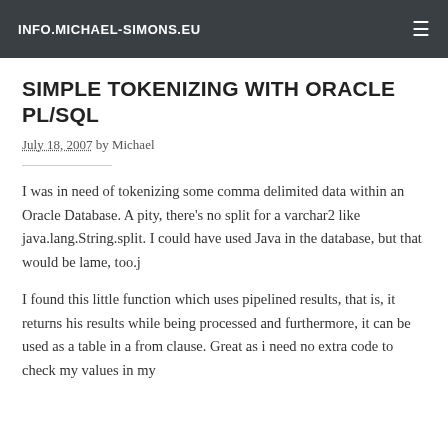INFO.MICHAEL-SIMONS.EU
SIMPLE TOKENIZING WITH ORACLE PL/SQL
July 18, 2007 by Michael
I was in need of tokenizing some comma delimited data within an Oracle Database. A pity, there's no split for a varchar2 like java.lang.String.split. I could have used Java in the database, but that would be lame, too.j
I found this little function which uses pipelined results, that is, it returns his results while being processed and furthermore, it can be used as a table in a from clause. Great as i need no extra code to check my values in my